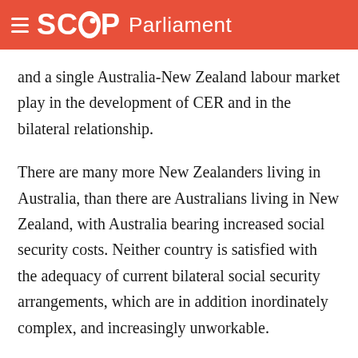SCOOP Parliament
and a single Australia-New Zealand labour market play in the development of CER and in the bilateral relationship.
There are many more New Zealanders living in Australia, than there are Australians living in New Zealand, with Australia bearing increased social security costs. Neither country is satisfied with the adequacy of current bilateral social security arrangements, which are in addition inordinately complex, and increasingly unworkable.
New Zealand and Australia both want more stable and durable social security arrangements that will provide